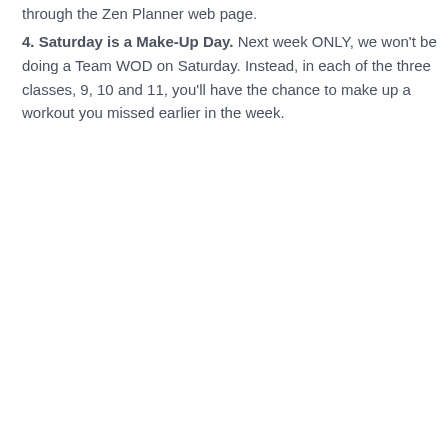through the Zen Planner web page.
4. Saturday is a Make-Up Day. Next week ONLY, we won't be doing a Team WOD on Saturday. Instead, in each of the three classes, 9, 10 and 11, you'll have the chance to make up a workout you missed earlier in the week.